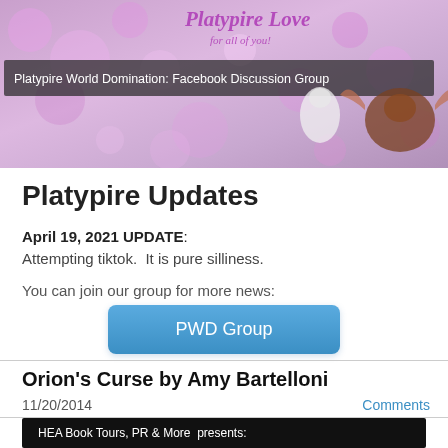[Figure (illustration): Platypire Love banner with pink bokeh background, cartoon characters including a white batlike creature and a brown bat. Text overlay 'Platypire World Domination: Facebook Discussion Group']
Platypire Updates
April 19, 2021 UPDATE:
Attempting tiktok.  It is pure silliness.
You can join our group for more news:
PWD Group
Orion's Curse by Amy Bartelloni
11/20/2014
Comments
[Figure (illustration): HEA Book Tours, PR & More presents: banner with book image on dark background]